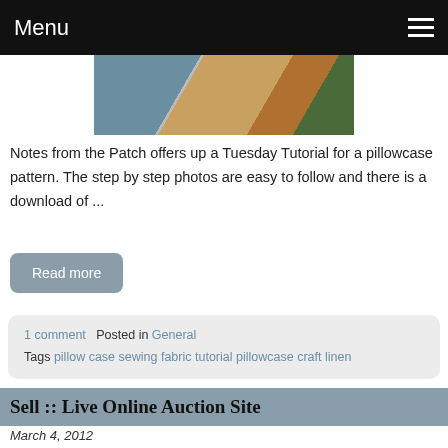Menu
[Figure (photo): Partial view of colorful fabric swatches and textiles including striped, leopard print, and patterned fabrics]
Notes from the Patch offers up a Tuesday Tutorial for a pillowcase pattern. The step by step photos are easy to follow and there is a download of ...
Read more
1 comment   Posted in General
Tags pillow case sewing fabric tutorial pillowcase craft linen
Sell :: Live Online Auction Site
March 4, 2012